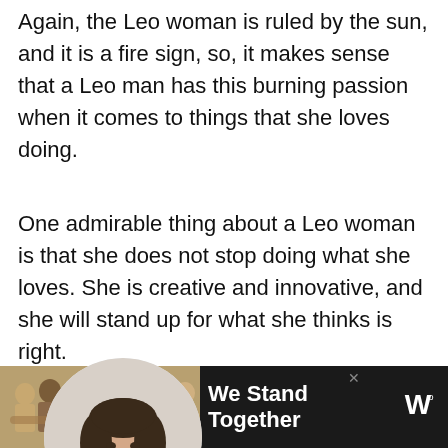Again, the Leo woman is ruled by the sun, and it is a fire sign, so, it makes sense that a Leo man has this burning passion when it comes to things that she loves doing.
One admirable thing about a Leo woman is that she does not stop doing what she loves. She is creative and innovative, and she will stand up for what she thinks is right.
[Figure (photo): Circular cropped photo of a smiling young woman with dark hair against a white background.]
[Figure (photo): Advertisement banner showing a group of people with arms around each other (backs to camera) with text 'We Stand Together' and a logo on a dark background.]